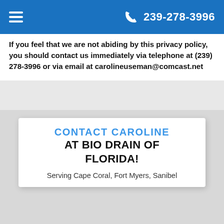≡  239-278-3996
If you feel that we are not abiding by this privacy policy, you should contact us immediately via telephone at (239) 278-3996 or via email at carolineuseman@comcast.net
CONTACT CAROLINE AT BIO DRAIN OF FLORIDA!
Serving Cape Coral, Fort Myers, Sanibel